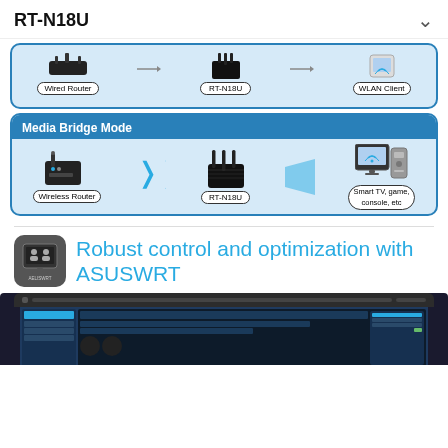RT-N18U
[Figure (illustration): Network diagram showing Wired Router connected to RT-N18U connected to WLAN Client (top, partially visible, cropped)]
[Figure (illustration): Media Bridge Mode diagram showing Wireless Router wirelessly connected to RT-N18U which connects via Ethernet to Smart TV, game console, etc.]
[Figure (illustration): Partial screenshot of ASUS router ASUSWRT admin interface on a monitor, bottom portion of page]
Robust control and optimization with ASUSWRT